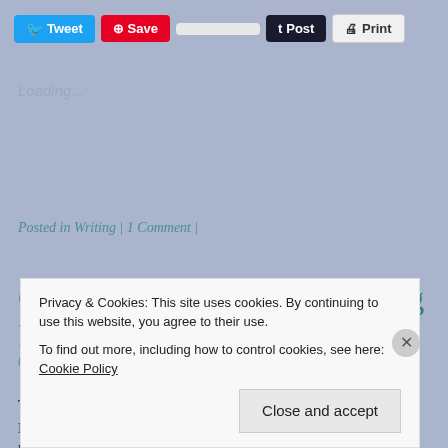[Figure (screenshot): Social sharing buttons bar with Tweet, Save, blank, Post, and Print buttons]
Loading...
Posted in Writing | 1 Comment |
Call to Arms – Book Marketing Results
06/12/2015 by Sally Ember, EdD
Thanks for collecting, compiling, analyzing and summarzing, Nicholas. When I have time to organize it or money to put into it, I have this b…
Privacy & Cookies: This site uses cookies. By continuing to use this website, you agree to their use.
To find out more, including how to control cookies, see here: Cookie Policy
Close and accept